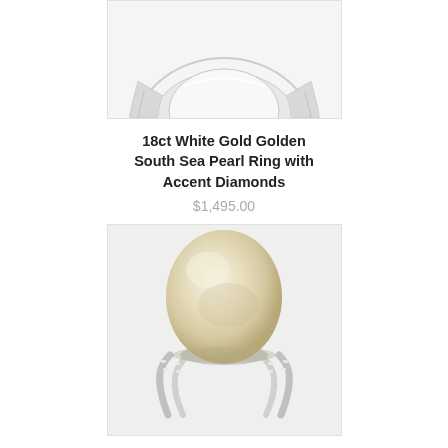[Figure (photo): Close-up top view of a white gold ring showing the band and setting, cropped at the top]
18ct White Gold Golden South Sea Pearl Ring with Accent Diamonds
$1,495.00
[Figure (photo): 18ct White Gold Golden South Sea Pearl Ring with a large oval cream/golden pearl on a split shank white gold band set with accent diamonds, shown from a three-quarter angle]